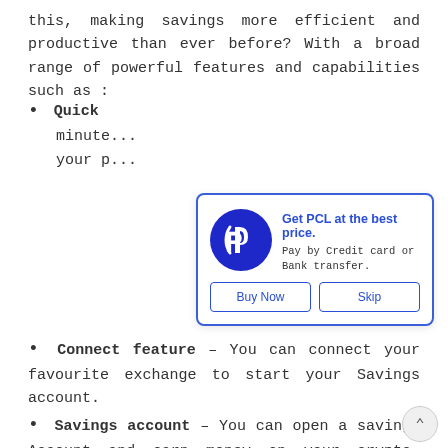this, making savings more efficient and productive than ever before? With a broad range of powerful features and capabilities such as :
Quick – [partial, obscured by popup] minutes ... your p...
[Figure (other): Popup ad overlay with PCL logo (dark blue circle with white 'P' letter), title 'Get PCL at the best price.', subtitle 'Pay by Credit card or Bank transfer.', and two buttons: 'Buy Now' and 'Skip']
Connect feature – You can connect your favourite exchange to start your Savings account.
Savings account – You can open a savings Account and earn money on your crypto. There are no fees. You'll start earning the day your deposit hits the account, with compounded interest paid in real-time.